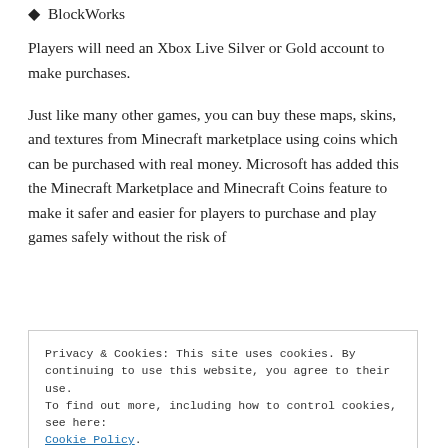BlockWorks
Players will need an Xbox Live Silver or Gold account to make purchases.
Just like many other games, you can buy these maps, skins, and textures from Minecraft marketplace using coins which can be purchased with real money. Microsoft has added this the Minecraft Marketplace and Minecraft Coins feature to make it safer and easier for players to purchase and play games safely without the risk of
Privacy & Cookies: This site uses cookies. By continuing to use this website, you agree to their use.
To find out more, including how to control cookies, see here: Cookie Policy
Close and accept
how and purchase in CD: